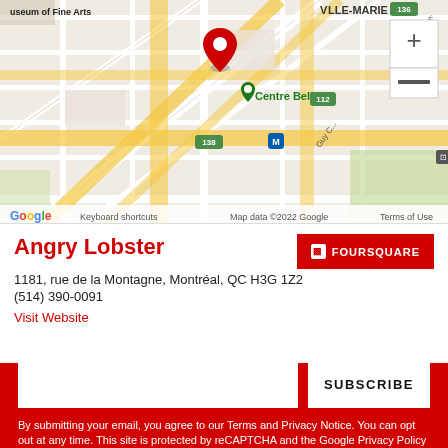[Figure (map): Google Maps screenshot showing area around Centre Bell in Montreal, with a red map pin marker, street grid visible, labels for Musée des Beaux-Arts / Museum of Fine Arts, Ville-Marie, Centre Bell, Metro station, zoom controls (+/-). Keyboard shortcuts and map data attribution visible at bottom.]
Angry Lobster
1181, rue de la Montagne, Montréal, QC H3G 1Z2
(514) 390-0091
Visit Website
close ×
Sign up for the Eater Montreal newsletter
The freshest news from the local food world
Email (required)
By submitting your email, you agree to our Terms and Privacy Notice. You can opt out at any time. This site is protected by reCAPTCHA and the Google Privacy Policy and Terms of Service apply.